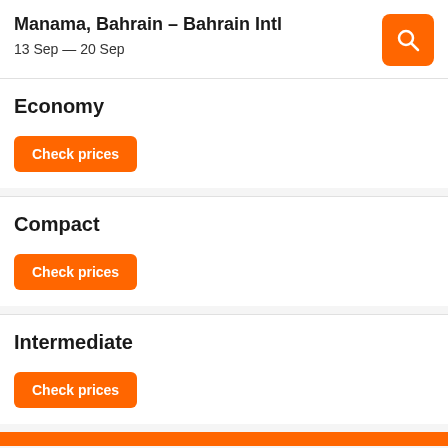Manama, Bahrain – Bahrain Intl
13 Sep — 20 Sep
Economy
Check prices
Compact
Check prices
Intermediate
Check prices